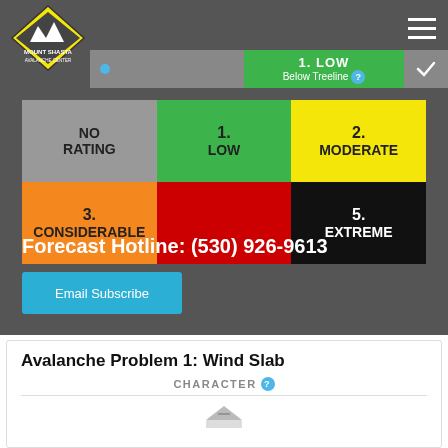[Figure (logo): Mount Shasta Avalanche Center logo - diamond shape with mountain peaks]
1. LOW
Below Treeline
| NO RATING | 1. LOW | 2. MODERATE |
| --- | --- | --- |
| 3. CONSIDERABLE | 4. HIGH | 5. EXTREME |
Forecast Hotline: (530) 926-9613
Email Subscribe
Avalanche Problem 1: Wind Slab
CHARACTER